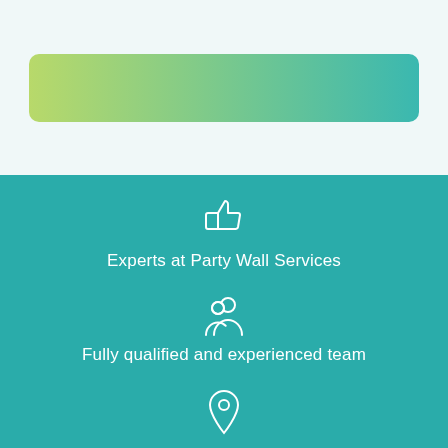[Figure (infographic): Horizontal gradient bar from yellow-green to teal on a light background]
[Figure (infographic): Thumbs up icon with text: Experts at Party Wall Services]
[Figure (infographic): People/team icon with text: Fully qualified and experienced team]
[Figure (infographic): Location pin icon with text: Party wall services all over the uk]